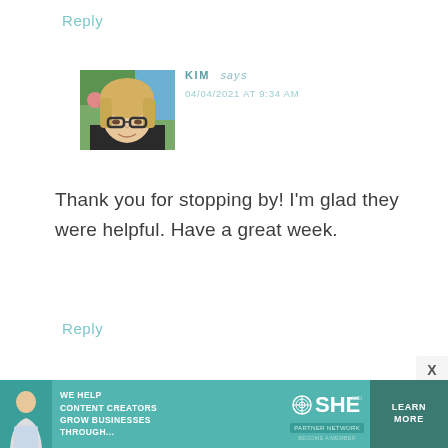Reply
[Figure (photo): Profile photo of a blonde woman wearing dark-rimmed glasses, smiling, with greenery in the background.]
KIM says 04/04/2021 AT 9:34 AM
Thank you for stopping by! I'm glad they were helpful. Have a great week.
Reply
[Figure (infographic): SHE Media Partner Network advertisement banner: 'We help content creators grow businesses through...' with a Learn More button.]